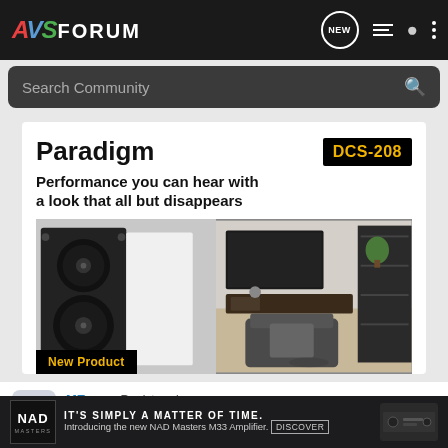AVSForum
Search Community
[Figure (illustration): Paradigm DCS-208 advertisement banner showing in-wall speaker product and living room lifestyle photo. Text: Paradigm, DCS-208, Performance you can hear with a look that all but disappears, New Product]
MError • Registered
J...
[Figure (illustration): NAD bottom advertisement bar: IT'S SIMPLY A MATTER OF TIME. Introducing the new NAD Masters M33 Amplifier. DISCOVER]
IT'S SIMPLY A MATTER OF TIME. Introducing the new NAD Masters M33 Amplifier. DISCOVER